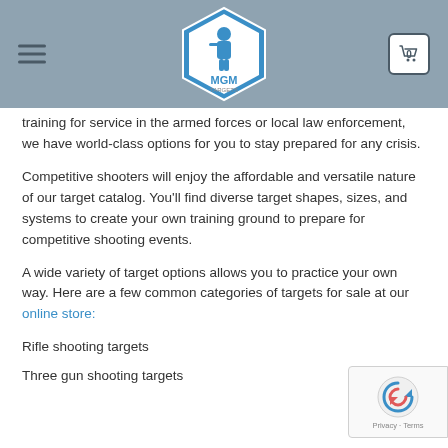MGM Targets
training for service in the armed forces or local law enforcement, we have world-class options for you to stay prepared for any crisis.
Competitive shooters will enjoy the affordable and versatile nature of our target catalog. You'll find diverse target shapes, sizes, and systems to create your own training ground to prepare for competitive shooting events.
A wide variety of target options allows you to practice your own way. Here are a few common categories of targets for sale at our online store:
Rifle shooting targets
Three gun shooting targets